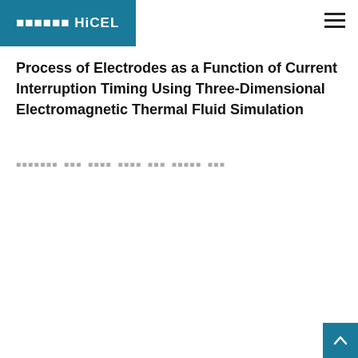한국어 HiCEL
Process of Electrodes as a Function of Current Interruption Timing Using Three-Dimensional Electromagnetic Thermal Fluid Simulation
한국어텍스트 한국 한국어 한국어 한국 한국어텍 한국